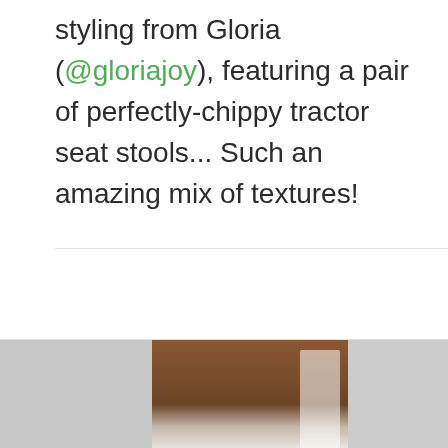styling from Gloria (@gloriajoy), featuring a pair of perfectly-chippy tractor seat stools... Such an amazing mix of textures!
[Figure (photo): Partial view of an interior room photo showing wooden paneling or shelving in warm brown tones, with a white or light-colored object (possibly a chair or stool) visible, and a grey/silver strip along the left edge.]